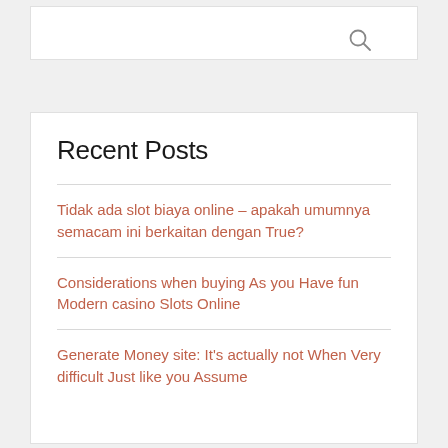Recent Posts
Tidak ada slot biaya online – apakah umumnya semacam ini berkaitan dengan True?
Considerations when buying As you Have fun Modern casino Slots Online
Generate Money site: It's actually not When Very difficult Just like you Assume